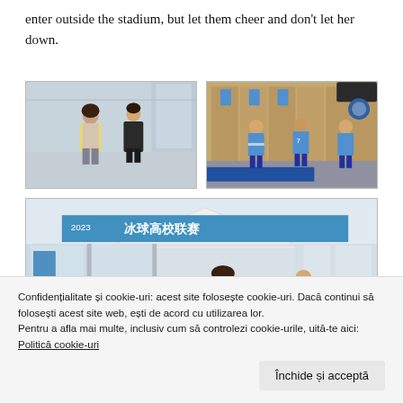enter outside the stadium, but let them cheer and don't let her down.
[Figure (photo): Two people standing in what appears to be a stadium or sports venue interior. A woman in a light coat and a man in dark clothing.]
[Figure (photo): Hockey players in blue and white jerseys in a locker room with equipment, jersey numbers including 7 visible.]
[Figure (photo): Entrance area with Chinese banner reading ice hockey college league, people visible in outdoor/indoor venue.]
Confidențialitate și cookie-uri: acest site folosește cookie-uri. Dacă continui să folosești acest site web, ești de acord cu utilizarea lor.
Pentru a afla mai multe, inclusiv cum să controlezi cookie-urile, uită-te aici: Politică cookie-uri
Închide și acceptă